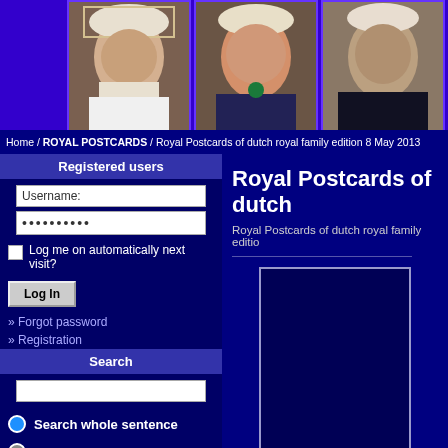[Figure (photo): Header banner with purple background and three portrait photos of royal women wearing tiaras/crowns]
Home / ROYAL POSTCARDS / Royal Postcards of dutch royal family edition 8 May 2013
Registered users
Username:
••••••••••
Log me on automatically next visit?
Log In
» Forgot password
» Registration
Search
Search whole sentence
Search individual words
Only image name
All fields
Royal Postcards of dutch
Royal Postcards of dutch royal family editio
[Figure (photo): Large portrait photo placeholder in the right panel, dark blue background with white border]